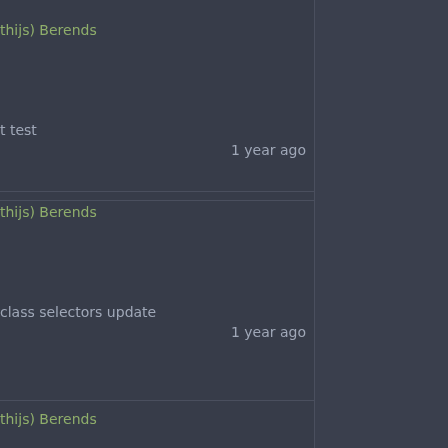thijs) Berends
t test
1 year ago
thijs) Berends
class selectors update
1 year ago
thijs) Berends